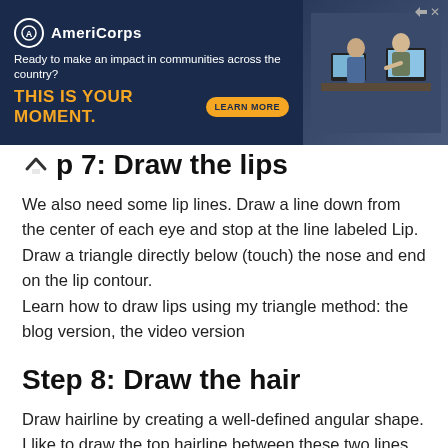[Figure (screenshot): AmeriCorps advertisement banner with dark navy background. Logo with circular emblem and 'AmeriCorps' brand name. Tagline: 'Ready to make an impact in communities across the country?' with bold orange text 'THIS IS YOUR MOMENT.' and a 'LEARN MORE' button. Right side shows a photo of people at computers.]
Step 7: Draw the lips
We also need some lip lines. Draw a line down from the center of each eye and stop at the line labeled Lip. Draw a triangle directly below (touch) the nose and end on the lip contour.
Learn how to draw lips using my triangle method: the blog version, the video version
Step 8: Draw the hair
Draw hairline by creating a well-defined angular shape.
I like to draw the top hairline between these two lines.
Once done, draw the rest of the hair. In order for his hair to have a larger volume, draw your contour away from the